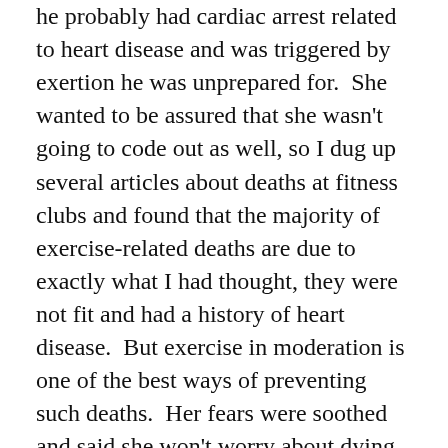he probably had cardiac arrest related to heart disease and was triggered by exertion he was unprepared for.  She wanted to be assured that she wasn't going to code out as well, so I dug up several articles about deaths at fitness clubs and found that the majority of exercise-related deaths are due to exactly what I had thought, they were not fit and had a history of heart disease.  But exercise in moderation is one of the best ways of preventing such deaths.  Her fears were soothed and said she won't worry about dying on the treadmill.
But the conversation kind of stoked my fears a little.  My father died of heart disease at the age of 52.  He was a smoker, my mom fried a lot of